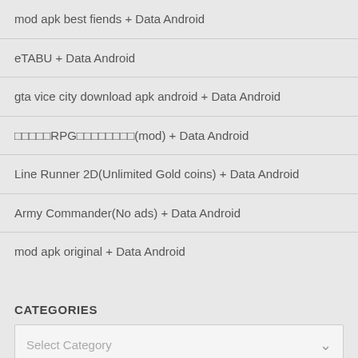mod apk best fiends + Data Android
eTABU + Data Android
gta vice city download apk android + Data Android
□□□□□RPG□□□□□□□□(mod) + Data Android
Line Runner 2D(Unlimited Gold coins) + Data Android
Army Commander(No ads) + Data Android
mod apk original + Data Android
CATEGORIES